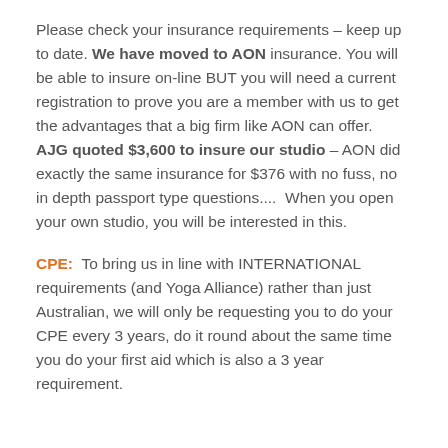Please check your insurance requirements – keep up to date. We have moved to AON insurance. You will be able to insure on-line BUT you will need a current registration to prove you are a member with us to get the advantages that a big firm like AON can offer.  AJG quoted $3,600 to insure our studio – AON did exactly the same insurance for $376 with no fuss, no in depth passport type questions....  When you open your own studio, you will be interested in this.
CPE:  To bring us in line with INTERNATIONAL requirements (and Yoga Alliance) rather than just Australian, we will only be requesting you to do your CPE every 3 years, do it round about the same time you do your first aid which is also a 3 year requirement.